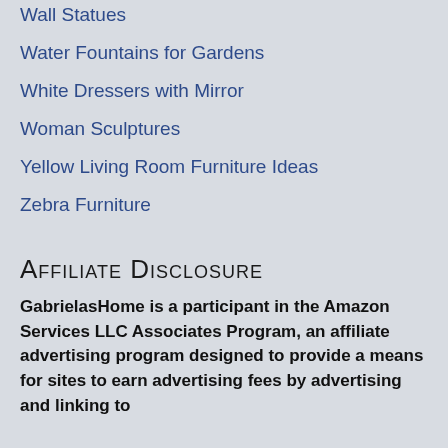Wall Statues
Water Fountains for Gardens
White Dressers with Mirror
Woman Sculptures
Yellow Living Room Furniture Ideas
Zebra Furniture
Affiliate Disclosure
GabrielasHome is a participant in the Amazon Services LLC Associates Program, an affiliate advertising program designed to provide a means for sites to earn advertising fees by advertising and linking to...